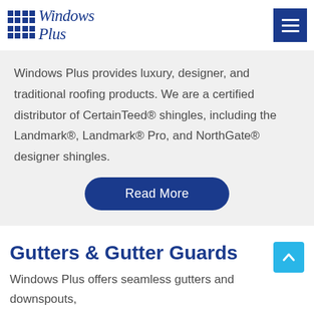Windows Plus
Windows Plus provides luxury, designer, and traditional roofing products. We are a certified distributor of CertainTeed® shingles, including the Landmark®, Landmark® Pro, and NorthGate® designer shingles.
Read More
Gutters & Gutter Guards
Windows Plus offers seamless gutters and downspouts,